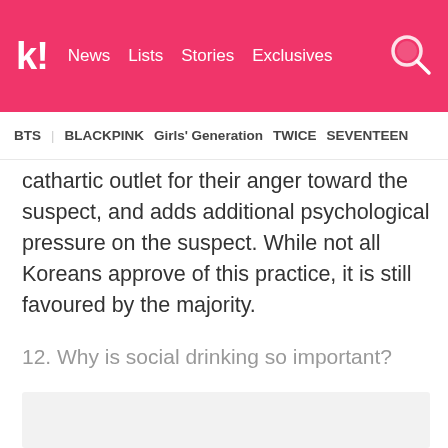k! News  Lists  Stories  Exclusives
BTS  BLACKPINK  Girls' Generation  TWICE  SEVENTEEN
cathartic outlet for their anger toward the suspect, and adds additional psychological pressure on the suspect. While not all Koreans approve of this practice, it is still favoured by the majority.
12. Why is social drinking so important?
[Figure (photo): Image placeholder / content image related to social drinking]